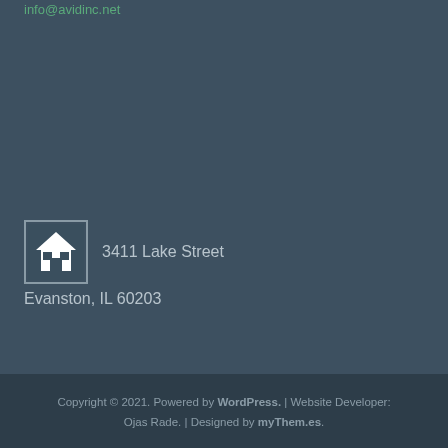info@avidinc.net
[Figure (illustration): Home icon — white house silhouette on dark background in a square frame]
3411 Lake Street
Evanston, IL 60203
Copyright © 2021. Powered by WordPress. | Website Developer: Ojas Rade. | Designed by myThem.es.